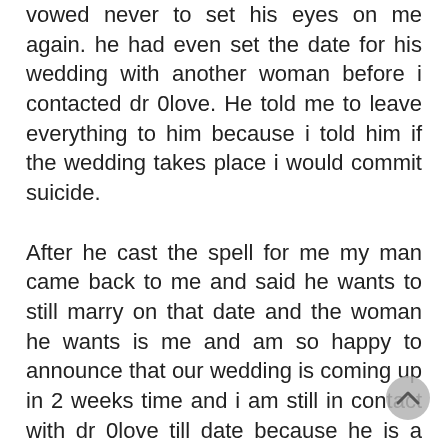vowed never to set his eyes on me again. he had even set the date for his wedding with another woman before i contacted dr 0love. He told me to leave everything to him because i told him if the wedding takes place i would commit suicide. After he cast the spell for me my man came back to me and said he wants to still marry on that date and the woman he wants is me and am so happy to announce that our wedding is coming up in 2 weeks time and i am still in contact with dr 0love till date because he is a very powerful man and a man to be trusted. CONTACT DR 0LOVE ON email: doctor0lovespell@gmail.com OR whatsapp him on: +1 (201) 781-2375 You can also visit his FB page: https://www.facebook.com/Lovespellthatworkfastusa or view his